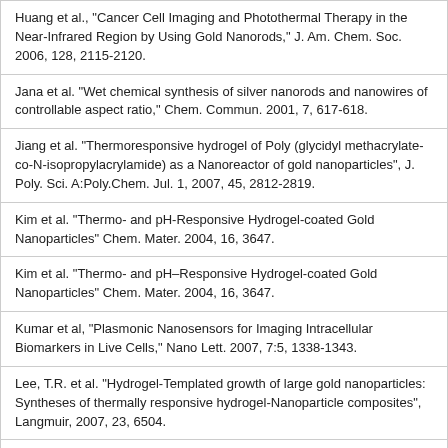Huang et al., "Cancer Cell Imaging and Photothermal Therapy in the Near-Infrared Region by Using Gold Nanorods," J. Am. Chem. Soc. 2006, 128, 2115-2120.
Jana et al. "Wet chemical synthesis of silver nanorods and nanowires of controllable aspect ratio," Chem. Commun. 2001, 7, 617-618.
Jiang et al. "Thermoresponsive hydrogel of Poly (glycidyl methacrylate-co-N-isopropylacrylamide) as a Nanoreactor of gold nanoparticles", J. Poly. Sci. A:Poly.Chem. Jul. 1, 2007, 45, 2812-2819.
Kim et al. "Thermo- and pH-Responsive Hydrogel-coated Gold Nanoparticles" Chem. Mater. 2004, 16, 3647.
Kim et al. "Thermo- and pH–Responsive Hydrogel-coated Gold Nanoparticles" Chem. Mater. 2004, 16, 3647.
Kumar et al, "Plasmonic Nanosensors for Imaging Intracellular Biomarkers in Live Cells," Nano Lett. 2007, 7:5, 1338-1343.
Lee, T.R. et al. "Hydrogel-Templated growth of large gold nanoparticles: Syntheses of thermally responsive hydrogel-Nanoparticle composites", Langmuir, 2007, 23, 6504.
Lu et al. "Environmentally friendly syntheses of highly monodisperse biocompatible gold nanoparticles with urchin-like shape", Langmuir